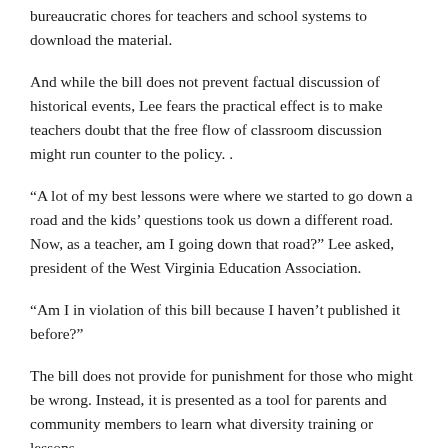bureaucratic chores for teachers and school systems to download the material.
And while the bill does not prevent factual discussion of historical events, Lee fears the practical effect is to make teachers doubt that the free flow of classroom discussion might run counter to the policy. .
“A lot of my best lessons were where we started to go down a road and the kids’ questions took us down a different road. Now, as a teacher, am I going down that road?” Lee asked, president of the West Virginia Education Association.
“Am I in violation of this bill because I haven’t published it before?”
The bill does not provide for punishment for those who might be wrong. Instead, it is presented as a tool for parents and community members to learn what diversity training or lessons